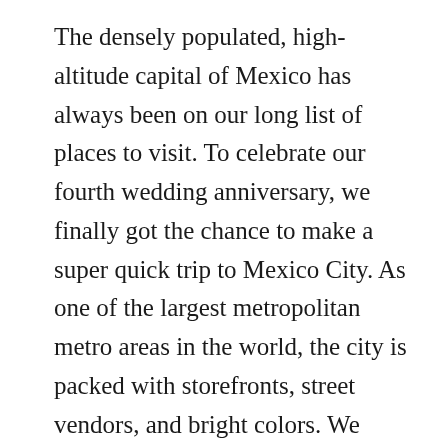The densely populated, high-altitude capital of Mexico has always been on our long list of places to visit. To celebrate our fourth wedding anniversary, we finally got the chance to make a super quick trip to Mexico City. As one of the largest metropolitan metro areas in the world, the city is packed with storefronts, street vendors, and bright colors. We obviously didn't have time to see and experience everything at this bustling destination. Thanks to some very kind local friends, we spent lots of quality time in Condesa, Hipódromo, and Roma Norte,